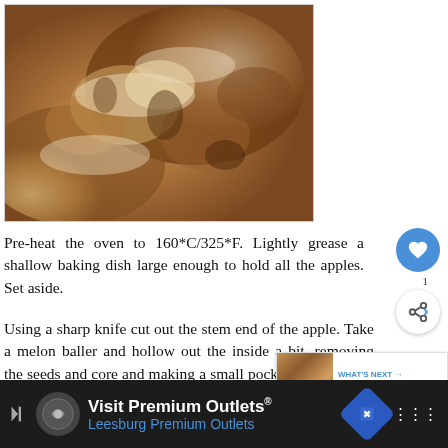[Figure (photo): Close-up photo of baked apples in a dish with caramel/cream topping]
Pre-heat the oven to 160*C/325*F. Lightly grease a shallow baking dish large enough to hold all the apples. Set aside.
Using a sharp knife cut out the stem end of the apple. Take a melon baller and hollow out the inside a bit, removing the seeds and core and making a small pocket without going all the way through to the bottom. Make a light score all the way around the apples, horizontally. Place the apples in the ba...
[Figure (other): WHAT'S NEXT banner with thumbnail image for Spiced Plum Cake]
Visit Premium Outlets® Leesburg Premium Outlets